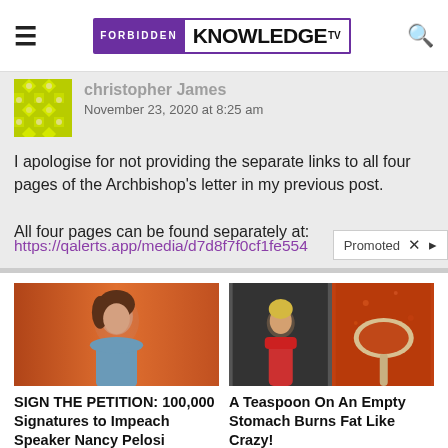FORBIDDEN KNOWLEDGE TV
christopher James
November 23, 2020 at 8:25 am
I apologise for not providing the separate links to all four pages of the Archbishop's letter in my previous post.

All four pages can be found separately at:
https://qalerts.app/media/d7d8f7f0cf1fe554
[Figure (screenshot): Promoted advertisement overlay with X close button]
[Figure (photo): Photo of Nancy Pelosi with orange background]
SIGN THE PETITION: 100,000 Signatures to Impeach Speaker Nancy Pelosi
Sign Here
[Figure (photo): Split image: fitness model and spice/powder on spoon]
A Teaspoon On An Empty Stomach Burns Fat Like Crazy!
Find Out More